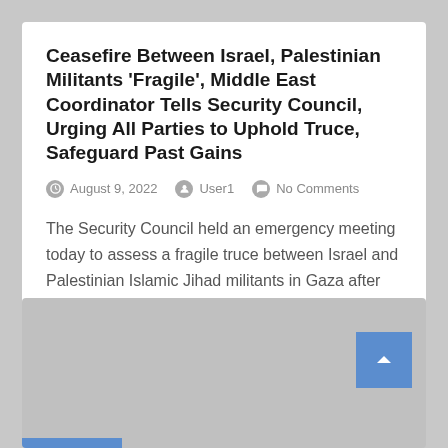Ceasefire Between Israel, Palestinian Militants 'Fragile', Middle East Coordinator Tells Security Council, Urging All Parties to Uphold Truce, Safeguard Past Gains
August 9, 2022  User1  No Comments
The Security Council held an emergency meeting today to assess a fragile truce between Israel and Palestinian Islamic Jihad militants in Gaza after three days of deadly fighting, with the…
[Figure (other): Grey placeholder section with a blue back-to-top button (chevron up arrow) in the lower right, and a blue bar at the bottom left]